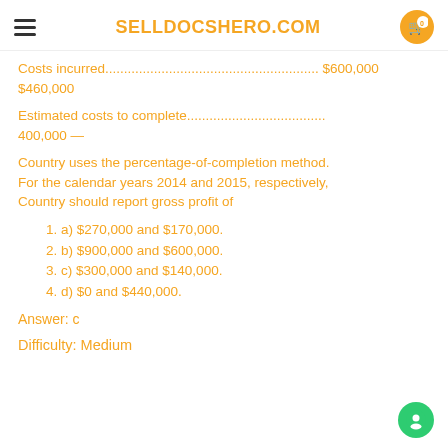SELLDOCSHERO.COM
Costs incurred............................................................. $600,000 $460,000
Estimated costs to complete........................................ 400,000 —
Country uses the percentage-of-completion method. For the calendar years 2014 and 2015, respectively, Country should report gross profit of
1. a) $270,000 and $170,000.
2. b) $900,000 and $600,000.
3. c) $300,000 and $140,000.
4. d) $0 and $440,000.
Answer: c
Difficulty: Medium